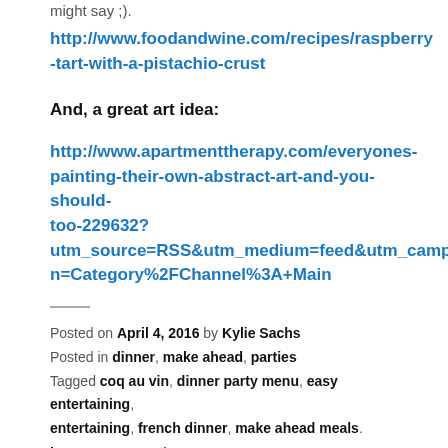might say ;).
http://www.foodandwine.com/recipes/raspberry-tart-with-a-pistachio-crust
And, a great art idea:
http://www.apartmenttherapy.com/everyones-painting-their-own-abstract-art-and-you-should-too-229632?utm_source=RSS&utm_medium=feed&utm_campaign=Category%2FChannel%3A+Main
Posted on April 4, 2016 by Kylie Sachs
Posted in dinner, make ahead, parties
Tagged coq au vin, dinner party menu, easy entertaining, entertaining, french dinner, make ahead meals.
Leave a comment
Menu 33 – Scandinavian